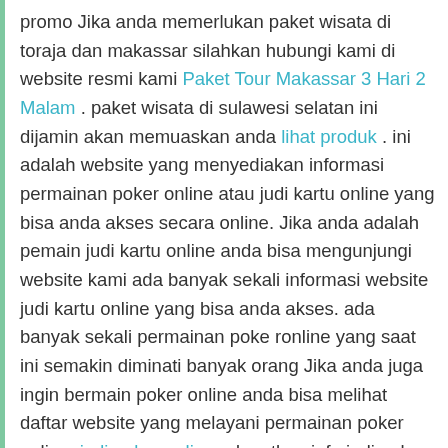promo Jika anda memerlukan paket wisata di toraja dan makassar silahkan hubungi kami di website resmi kami Paket Tour Makassar 3 Hari 2 Malam . paket wisata di sulawesi selatan ini dijamin akan memuaskan anda lihat produk . ini adalah website yang menyediakan informasi permainan poker online atau judi kartu online yang bisa anda akses secara online. Jika anda adalah pemain judi kartu online anda bisa mengunjungi website kami ada banyak sekali informasi website judi kartu online yang bisa anda akses. ada banyak sekali permainan poke ronline yang saat ini semakin diminati banyak orang Jika anda juga ingin bermain poker online anda bisa melihat daftar website yang melayani permainan poker online. judi poker online . dapatkan info judi poker online yang  cek daftar harga . budaya tionghoa adalah budaya yang sudah berumur ribuan tahun dan ada